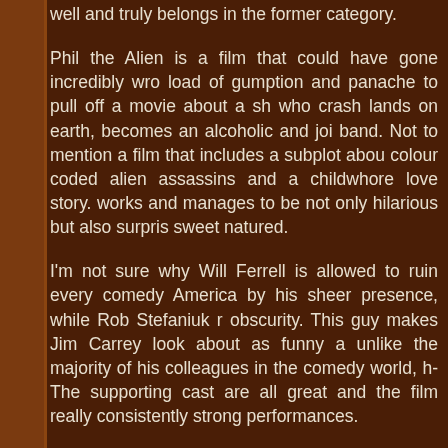well and truly belongs in the former category.
Phil the Alien is a film that could have gone incredibly wro... load of gumption and panache to pull off a movie about a sh... who crash lands on earth, becomes an alcoholic and joi... band. Not to mention a film that includes a subplot abou... colour coded alien assassins and a childwhore love story. ... works and manages to be not only hilarious but also surpris... sweet natured.
I'm not sure why Will Ferrell is allowed to ruin every comedy... America by his sheer presence, while Rob Stefaniuk r... obscurity. This guy makes Jim Carrey look about as funny a... unlike the majority of his colleagues in the comedy world, h... The supporting cast are all great and the film really ... consistently strong performances.
Phil the Alien is the kind of movie you will either love or hat... just about everything about it, from the cool puppetry (Ro... another bow) to the old school special effects and even ... music. I kept expecting the joke to wear thin but it never d... unlike any of the dire comedies that have been excreted f... Hollywood in recent years. For that reason alone, it deserve...